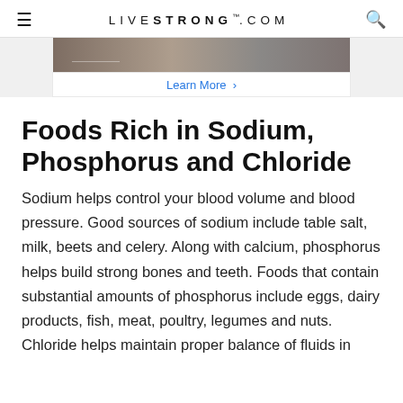LIVESTRONG.COM
[Figure (photo): Partial photo strip at top of page, appears to be a food-related image, partially cropped]
Learn More >
Foods Rich in Sodium, Phosphorus and Chloride
Sodium helps control your blood volume and blood pressure. Good sources of sodium include table salt, milk, beets and celery. Along with calcium, phosphorus helps build strong bones and teeth. Foods that contain substantial amounts of phosphorus include eggs, dairy products, fish, meat, poultry, legumes and nuts. Chloride helps maintain proper balance of fluids in